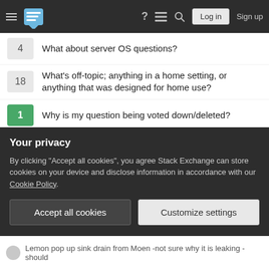Navigation bar with logo, icons, Log in, Sign up
4 — What about server OS questions?
18 — What's off-topic; anything in a home setting, or anything that was designed for home use?
1 — Why is my question being voted down/deleted?
16 — Interpretation of Off Topic
26 — What should Server Fault do with questions about web hosting control panels?
14 — What makes virtual box off topic on server fault?
2 — Why is my question about docker-compose off-topic?
Your privacy
By clicking "Accept all cookies", you agree Stack Exchange can store cookies on your device and disclose information in accordance with our Cookie Policy.
Accept all cookies | Customize settings
Lemon pop up sink drain from Moen -not sure why it is leaking -should